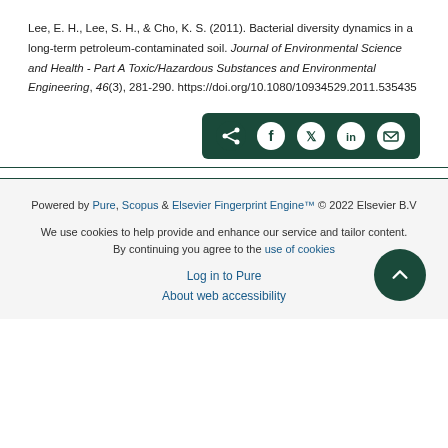Lee, E. H., Lee, S. H., & Cho, K. S. (2011). Bacterial diversity dynamics in a long-term petroleum-contaminated soil. Journal of Environmental Science and Health - Part A Toxic/Hazardous Substances and Environmental Engineering, 46(3), 281-290. https://doi.org/10.1080/10934529.2011.535435
[Figure (infographic): Dark green share bar with share icon and social media icons: Facebook, Twitter, LinkedIn, Email]
Powered by Pure, Scopus & Elsevier Fingerprint Engine™ © 2022 Elsevier B.V
We use cookies to help provide and enhance our service and tailor content. By continuing you agree to the use of cookies
Log in to Pure
About web accessibility